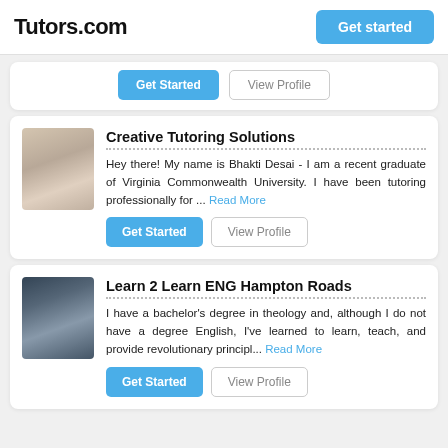Tutors.com
Get started (button)
Get Started | View Profile (partial card buttons)
Creative Tutoring Solutions
Hey there!  My name is Bhakti Desai - I am a recent graduate of Virginia Commonwealth University.  I have been tutoring professionally for ... Read More
Get Started | View Profile
Learn 2 Learn ENG Hampton Roads
I have a bachelor's degree in theology and, although I do not have a degree English, I've learned to learn, teach, and provide revolutionary principl... Read More